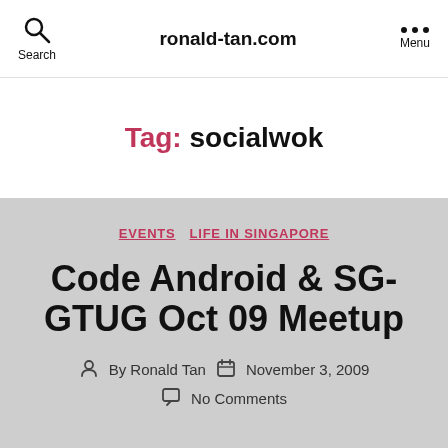ronald-tan.com
Tag: socialwok
EVENTS  LIFE IN SINGAPORE
Code Android & SG-GTUG Oct 09 Meetup
By Ronald Tan  November 3, 2009  No Comments